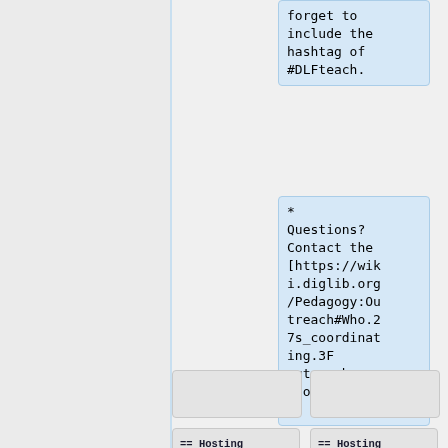forget to include the hashtag of #DLFteach.
* Questions? Contact the [https://wiki.diglib.org/Pedagogy:Outreach#Who.27s_coordinating.3F outreach coordinators].
== Hosting a chat ==
== Hosting a chat ==